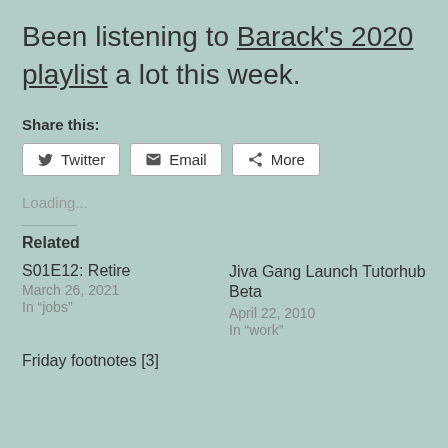Been listening to Barack's 2020 playlist a lot this week.
Share this:
Twitter | Email | More
Loading...
Related
S01E12: Retire
March 26, 2021
In "jobs"
Jiva Gang Launch Tutorhub Beta
April 22, 2010
In "work"
Friday footnotes [3]